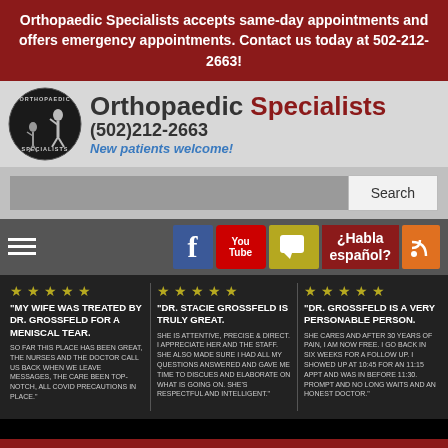Orthopaedic Specialists accepts same-day appointments and offers emergency appointments. Contact us today at 502-212-2663!
[Figure (logo): Orthopaedic Specialists logo with circular emblem showing medical figures, text 'Orthopaedic Specialists (502)212-2663 New patients welcome!']
[Figure (screenshot): Search bar with grey input field and Search button]
[Figure (screenshot): Navigation bar with hamburger menu, Facebook, YouTube, chat, Habla espanol, and RSS icons]
"MY WIFE WAS TREATED BY DR. GROSSFELD FOR A MENISCAL TEAR. SO FAR THIS PLACE HAS BEEN GREAT, THE NURSES AND THE DOCTOR CALL US BACK WHEN WE LEAVE MESSAGES, THE CARE BEEN TOP-NOTCH, ALL COVID PRECAUTIONS IN PLACE."
"DR. STACIE GROSSFELD IS TRULY GREAT. SHE IS ATTENTIVE, PRECISE & DIRECT. I APPRECIATE HER AND THE STAFF. SHE ALSO MADE SURE I HAD ALL MY QUESTIONS ANSWERED AND GAVE ME TIME TO DISCUES AND ELABORATE ON WHAT IS GOING ON. SHE'S RESPECTFUL AND INTELLIGENT."
"DR. GROSSFELD IS A VERY PERSONABLE PERSON. SHE CARES AND AFTER 30 YEARS OF PAIN, I AM NOW FREE. I GO BACK IN SIX WEEKS FOR A FOLLOW UP. I SHOWED UP AT 10:45 FOR AN 11:15 APPT AND WAS IN BEFORE 11:30. PROMPT AND NO LONG WAITS AND AN HONEST DOCTOR."